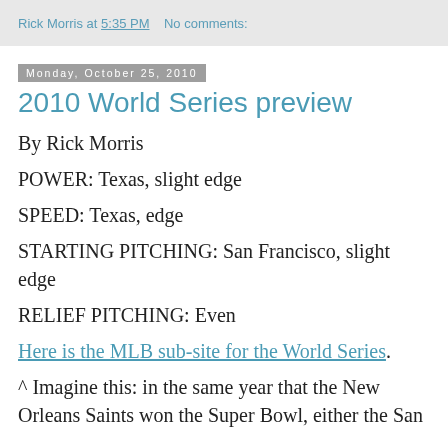Rick Morris at 5:35 PM   No comments:
Monday, October 25, 2010
2010 World Series preview
By Rick Morris
POWER: Texas, slight edge
SPEED: Texas, edge
STARTING PITCHING: San Francisco, slight edge
RELIEF PITCHING: Even
Here is the MLB sub-site for the World Series.
^ Imagine this: in the same year that the New Orleans Saints won the Super Bowl, either the San